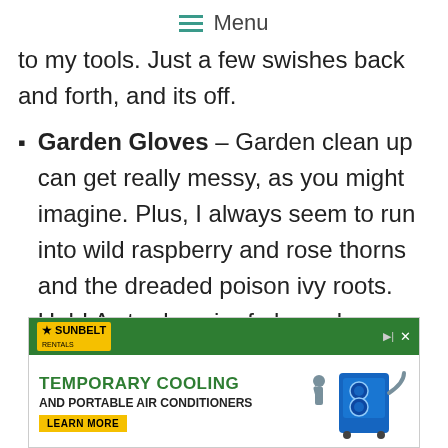≡ Menu
to my tools. Just a few swishes back and forth, and its off.
Garden Gloves – Garden clean up can get really messy, as you might imagine. Plus, I always seem to run into wild raspberry and rose thorns and the dreaded poison ivy roots. Ugh! A sturdy pair of gloves keeps my hands (and
[Figure (other): Advertisement banner for Sunbelt Rentals: Temporary Cooling and Portable Air Conditioners. Learn More CTA button. Image shows portable AC unit.]